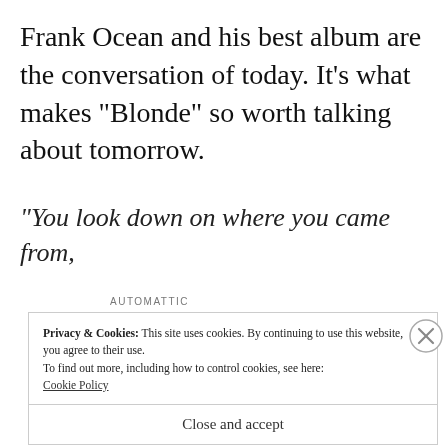Frank Ocean and his best album are the conversation of today. It’s what makes “Blonde” so worth talking about tomorrow.
“You look down on where you came from,
AUTOMATTIC
Build a better web and a better world.
REPORT THIS AD
Privacy & Cookies: This site uses cookies. By continuing to use this website, you agree to their use.
To find out more, including how to control cookies, see here:
Cookie Policy
Close and accept
REPORT THIS AD